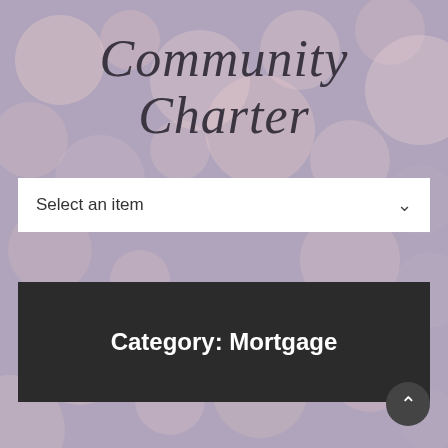Community Charter
Select an item
Category: Mortgage